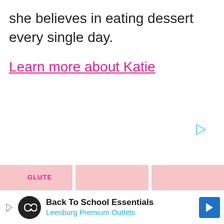she believes in eating dessert every single day.
Learn more about Katie
[Figure (other): Small cyan/teal play button icon in upper right area of page]
[Figure (other): Bottom strip with three pink/rose colored rectangular segments partially visible, with 'GLUTE' text label in pink]
[Figure (other): Advertisement banner: Back To School Essentials - Leesburg Premium Outlets, with infinity logo circle and blue navigation arrow icon]